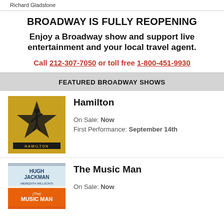Richard Gladstone
BROADWAY IS FULLY REOPENING
Enjoy a Broadway show and support live entertainment and your local travel agent.
Call 212-307-7050 or toll free 1-800-451-9930
FEATURED BROADWAY SHOWS
Hamilton
On Sale: Now
First Performance: September 14th
The Music Man
On Sale: Now